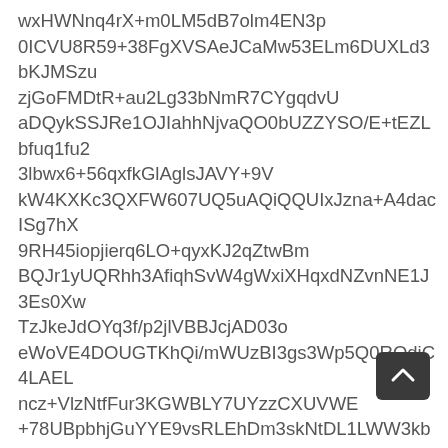wxHWNnq4rX+m0LM5dB7olm4EN3p 0ICVU8R59+38FgXVSAeJCaMw53ELm6DUXLd3bKJMSzu zjGoFMDtR+au2Lg33bNmR7CYgqdvU aDQykSSJRe1OJIahhNjvaQO0bUZZYSO/E+tEZLbfuq1fu2 3lbwx6+56qxfkGlAglsJAVY+9V kW4KXKc3QXFW607UQ5uAQiQQUIxJzna+A4dacISg7hX 9RH45iopjierq6LO+qyxKJ2qZtwBm BQJr1yUQRhh3AfiqhSvW4gWxiXHqxdNZvnNE1J3Es0Xw TzJkeJdOYq3f/p2jlVBBJcjAD03o eWoVE4DOUGTKhQi/mWUzBI3gs3Wp5Q0RQdiC4LAEL ncz+VlzNtfFur3KGWBLY7UYzzCXUVWE +78UBpbhjGuYYE9vsRLEhDm3skNtDL1LWW3kb8yQC2 MQRl6vEq3G3OUWkc0dhD0L8NyYLzXA B3vwooWbdy4Zm4JSJjuNWqw3Deqym37qoLh/h/FGNp 2Faqooniaoh6Do80y3FMaxTj4SuxAg J3/L7EbenBjb37T7vX0mlEW4epB1cPFAbCWTAVVTUVRQ BFEQ1HRhvifBN+VAAUWCfLRfCvhQ ZAkBCRxXO5xz49uPRSSfoNckco3buKhmuvIYvLD2K9IE UIZjwGG9QiPiBcnijK4Rl6/VvV0x MT5N+2qtGILFnHZiiyleqsmRoSR3hGtFiuCbntS9H3pot B95/TvoX0/6FoIavUajVwnOGS5 QHAANGkGlbKd5QQiGlSom9lmDXfekdH2i89T1...
[Figure (other): A dark rounded-rectangle scroll-to-top button with an upward-pointing chevron arrow icon]